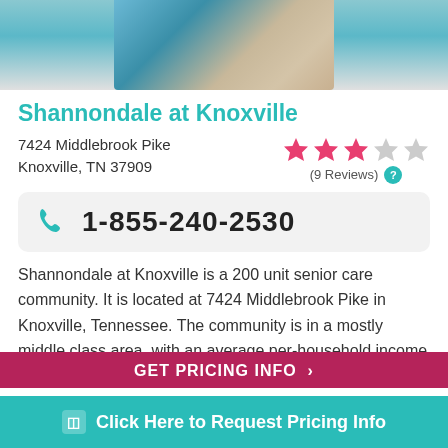[Figure (photo): Partial photo of a caregiver in blue scrubs assisting an elderly person seated in a chair]
Shannondale at Knoxville
7424 Middlebrook Pike
Knoxville, TN 37909
[Figure (infographic): Star rating: 3 out of 5 stars (pink filled stars), with label (9 Reviews) and a teal question mark circle]
1-855-240-2530
Shannondale at Knoxville is a 200 unit senior care community. It is located at 7424 Middlebrook Pike in Knoxville, Tennessee. The community is in a mostly middle class area, with an average per-household income of $45,751. It ...
GET PRICING INFO
Click Here to Request Pricing Info